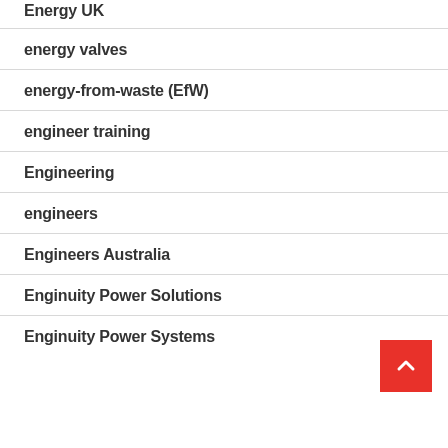Energy UK
energy valves
energy-from-waste (EfW)
engineer training
Engineering
engineers
Engineers Australia
Enginuity Power Solutions
Enginuity Power Systems